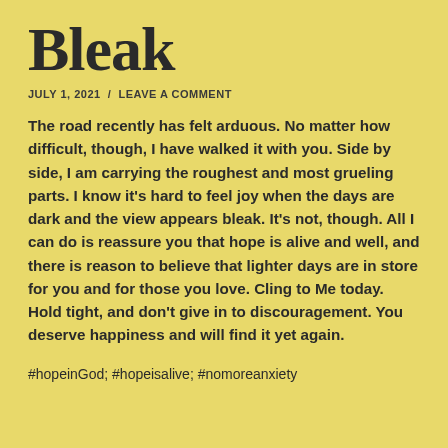Bleak
JULY 1, 2021  /  LEAVE A COMMENT
The road recently has felt arduous. No matter how difficult, though, I have walked it with you. Side by side, I am carrying the roughest and most grueling parts. I know it's hard to feel joy when the days are dark and the view appears bleak. It's not, though. All I can do is reassure you that hope is alive and well, and there is reason to believe that lighter days are in store for you and for those you love. Cling to Me today. Hold tight, and don't give in to discouragement. You deserve happiness and will find it yet again.
#hopeinGod; #hopeisalive; #nomoreanxiety